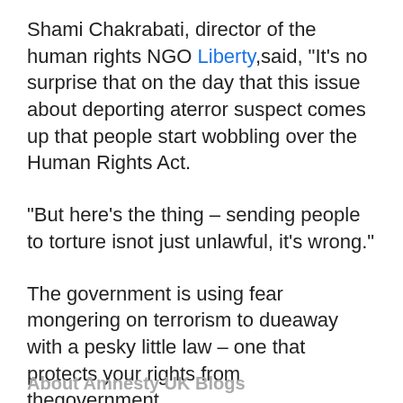Shami Chakrabati, director of the human rights NGO Liberty,said, "It's no surprise that on the day that this issue about deporting aterror suspect comes up that people start wobbling over the Human Rights Act.
"But here's the thing – sending people to torture isnot just unlawful, it's wrong."
The government is using fear mongering on terrorism to dueaway with a pesky little law – one that protects your rights from thegovernment.
About Amnesty UK Blogs